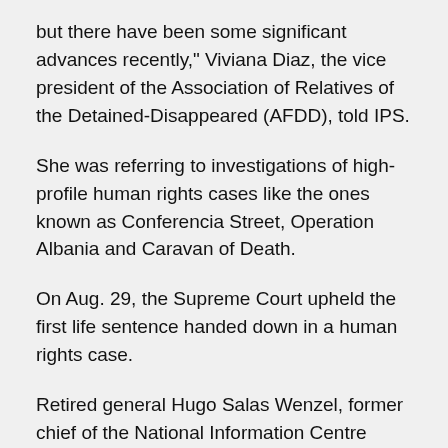but there have been some significant advances recently," Viviana Diaz, the vice president of the Association of Relatives of the Detained-Disappeared (AFDD), told IPS.
She was referring to investigations of high-profile human rights cases like the ones known as Conferencia Street, Operation Albania and Caravan of Death.
On Aug. 29, the Supreme Court upheld the first life sentence handed down in a human rights case.
Retired general Hugo Salas Wenzel, former chief of the National Information Centre (CNI) which replaced the National Intelligence Directorate (DINA) secret police agency, was sentenced to life imprisonment for his part in the murder of 12 leftwing opponents of the dictatorship in 1987, in the case known as Operation Albania.
For a d...